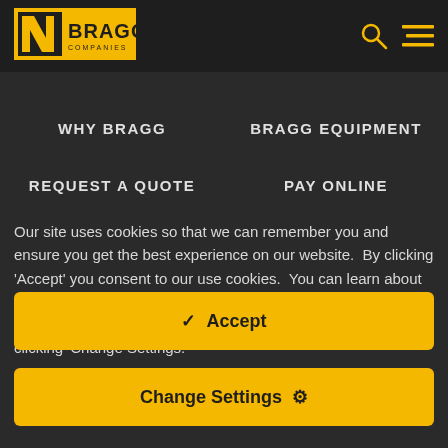[Figure (logo): Bragg Companies logo — yellow square background with black arrow and BRAGG text in bold, COMPANIES subtitle below]
WHY BRAGG
BRAGG EQUIPMENT
REQUEST A QUOTE
PAY ONLINE
Our site uses cookies so that we can remember you and ensure you get the best experience on our website.  By clicking 'Accept' you consent to our use cookies.  You can learn about how we use cookies and protect your privacy by clicking 'Read More.'  You can control what cookies you use or opt out by clicking 'Change Settings.'
✓  Accept
Change Settings  ⚙